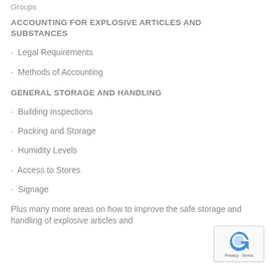Groups
ACCOUNTING FOR EXPLOSIVE ARTICLES AND SUBSTANCES
· Legal Requirements
· Methods of Accounting
GENERAL STORAGE AND HANDLING
· Building Inspections
· Packing and Storage
· Humidity Levels
· Access to Stores
· Signage
Plus many more areas on how to improve the safe storage and handling of explosive articles and